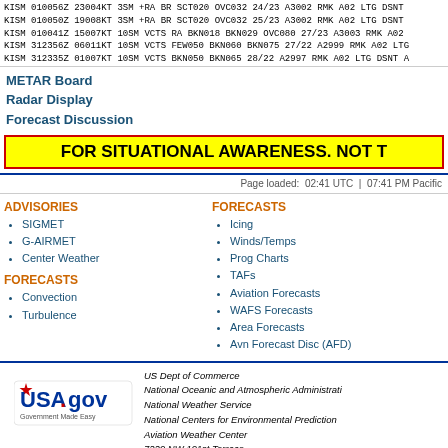KISM 010056Z 23004KT 3SM +RA BR SCT020 OVC032 24/23 A3002 RMK A02 LTG DSNT
KISM 010050Z 19008KT 3SM +RA BR SCT020 OVC032 25/23 A3002 RMK A02 LTG DSNT
KISM 010041Z 15007KT 10SM VCTS RA BKN018 BKN029 OVC080 27/23 A3003 RMK A02
KISM 312356Z 06011KT 10SM VCTS FEW050 BKN060 BKN075 27/22 A2999 RMK A02 LTG
KISM 312335Z 01007KT 10SM VCTS BKN050 BKN065 28/22 A2997 RMK A02 LTG DSNT A
METAR Board
Radar Display
Forecast Discussion
FOR SITUATIONAL AWARENESS. NOT T
Page loaded: 02:41 UTC | 07:41 PM Pacific
ADVISORIES
SIGMET
G-AIRMET
Center Weather
FORECASTS
Convection
Turbulence
FORECASTS
Icing
Winds/Temps
Prog Charts
TAFs
Aviation Forecasts
WAFS Forecasts
Area Forecasts
Avn Forecast Disc (AFD)
[Figure (logo): USA.gov - Government Made Easy logo]
US Dept of Commerce
National Oceanic and Atmospheric Administration
National Weather Service
National Centers for Environmental Prediction
Aviation Weather Center
7220 NW 101st Terrace
Kansas City, MO 64153-2371